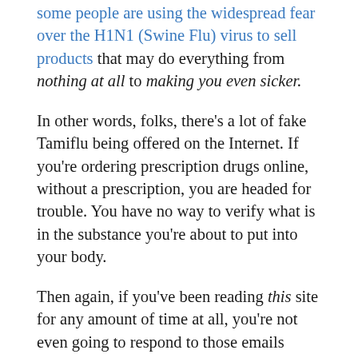some people are using the widespread fear over the H1N1 (Swine Flu) virus to sell products that may do everything from nothing at all to making you even sicker.
In other words, folks, there's a lot of fake Tamiflu being offered on the Internet. If you're ordering prescription drugs online, without a prescription, you are headed for trouble. You have no way to verify what is in the substance you're about to put into your body.
Then again, if you've been reading this site for any amount of time at all, you're not even going to respond to those emails advertising discount prescription drugs, are you?